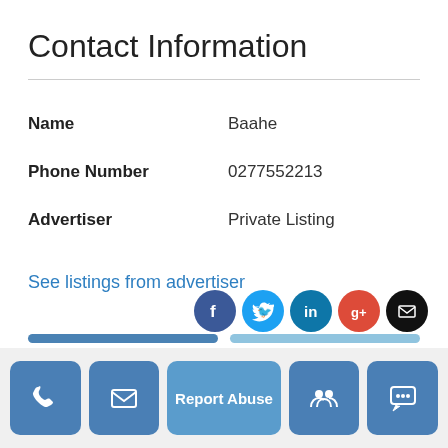Contact Information
| Name | Baahe |
| Phone Number | 0277552213 |
| Advertiser | Private Listing |
See listings from advertiser
[Figure (other): Social media icons: Facebook, Twitter, LinkedIn, Google+, Email]
Phone button, Email button, Report Abuse button, Group button, Chat button